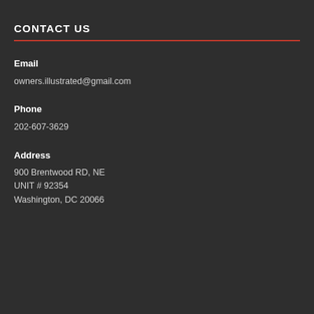CONTACT US
Email
owners.illustrated@gmail.com
Phone
202-607-3629
Address
900 Brentwood RD, NE
UNIT # 92354
Washington, DC 20066